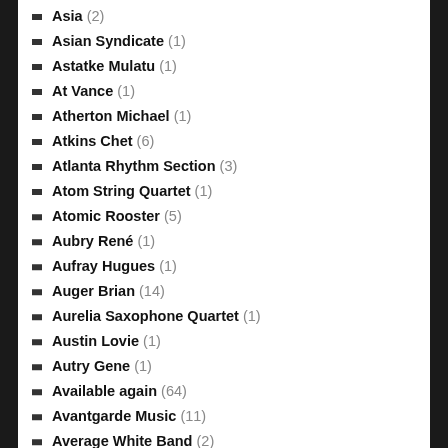Asia (2)
Asian Syndicate (1)
Astatke Mulatu (1)
At Vance (1)
Atherton Michael (1)
Atkins Chet (6)
Atlanta Rhythm Section (3)
Atom String Quartet (1)
Atomic Rooster (5)
Aubry René (1)
Aufray Hugues (1)
Auger Brian (14)
Aurelia Saxophone Quartet (1)
Austin Lovie (1)
Autry Gene (1)
Available again (64)
Avantgarde Music (11)
Average White Band (2)
Avishai Cohen Trio (1)
Ayers Kevin (1)
Aznavour Charles (5)
Érik & Vlad (1)